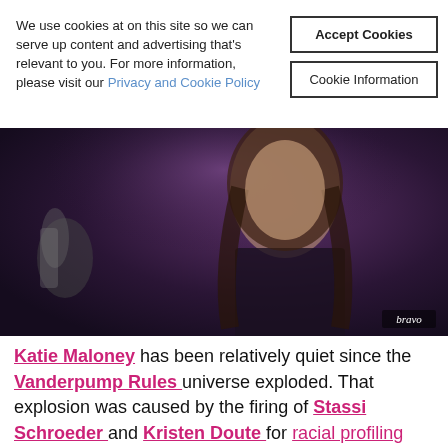We use cookies at on this site so we can serve up content and advertising that's relevant to you. For more information, please visit our Privacy and Cookie Policy
Accept Cookies
Cookie Information
[Figure (photo): A woman with long dark hair in a dark outfit on a TV show set; Bravo network watermark visible in bottom right corner.]
Katie Maloney has been relatively quiet since the Vanderpump Rules universe exploded. That explosion was caused by the firing of Stassi Schroeder and Kristen Doute for racial profiling Faith Stowers and Brett Caprion and Max Boyens' racist social media posts. Since